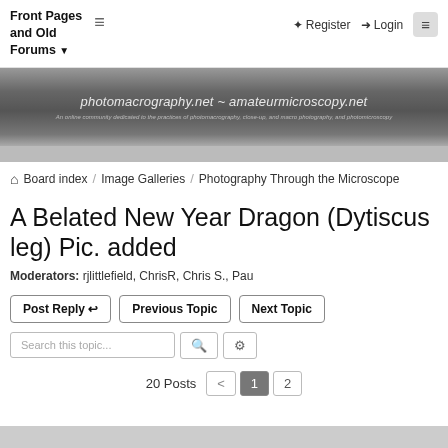Front Pages and Old Forums
[Figure (screenshot): Website banner for photomacrography.net ~ amateurmicroscopy.net with subtitle text]
Board index / Image Galleries / Photography Through the Microscope
A Belated New Year Dragon (Dytiscus leg) Pic. added
Moderators: rjlittlefield, ChrisR, Chris S., Pau
Post Reply  Previous Topic  Next Topic
Search this topic...
20 Posts  < 1 2